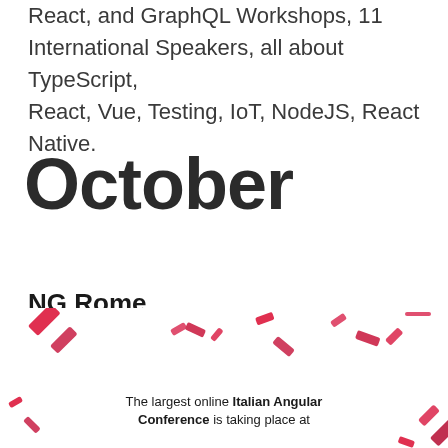React, and GraphQL Workshops, 11 International Speakers, all about TypeScript, React, Vue, Testing, IoT, NodeJS, React Native.
October
NG Rome
[Figure (infographic): Decorative confetti-style banner with scattered red/pink angular confetti shapes on a white background, containing text: 'The largest online Italian Angular Conference is taking place at']